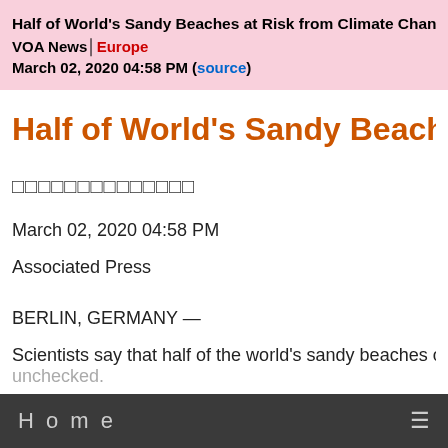Half of World's Sandy Beaches at Risk from Climate Change
VOA News│Europe
March 02, 2020 04:58 PM (source)
Half of World's Sandy Beaches at Risk
□□□□□□□□□□□□□□
March 02, 2020 04:58 PM
Associated Press
BERLIN, GERMANY —
Scientists say that half of the world's sandy beaches could disappear if climate change goes unchecked.
Home ≡